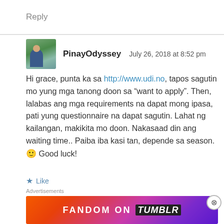Reply
PinayOdyssey   July 26, 2018 at 8:52 pm
Hi grace, punta ka sa http://www.udi.no, tapos sagutin mo yung mga tanong doon sa “want to apply”. Then, lalabas ang mga requirements na dapat mong ipasa, pati yung questionnaire na dapat sagutin. Lahat ng kailangan, makikita mo doon. Nakasaad din ang waiting time.. Paiba iba kasi tan, depende sa season. 🙂 Good luck!
Like
Advertisements
[Figure (illustration): Fandom on Tumblr advertisement banner with colorful orange-purple gradient background and white/black text]